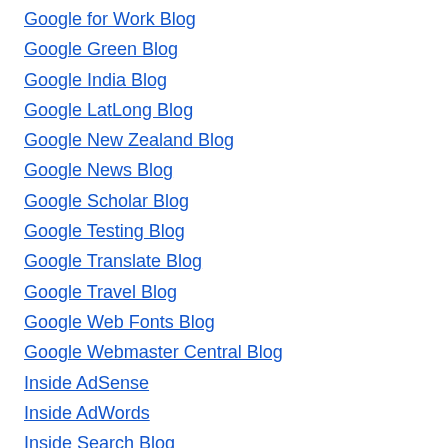Google for Work Blog
Google Green Blog
Google India Blog
Google LatLong Blog
Google New Zealand Blog
Google News Blog
Google Scholar Blog
Google Testing Blog
Google Translate Blog
Google Travel Blog
Google Web Fonts Blog
Google Webmaster Central Blog
Inside AdSense
Inside AdWords
Inside Search Blog
Official Gmail Blog
Official Google Blog
Online Security Blog
Open Source Blog